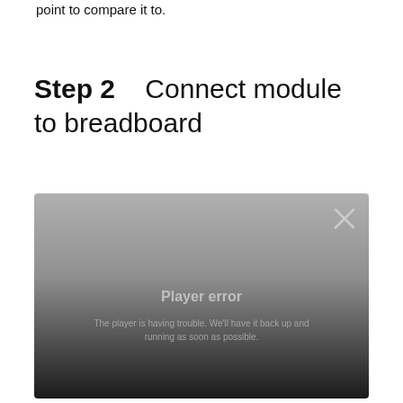point to compare it to.
Step 2    Connect module to breadboard
[Figure (screenshot): Video player error screen with gradient background from light gray at top to dark gray/black at bottom. An X close button appears in the upper right corner. Center text reads 'Player error' in light gray. Below that: 'The player is having trouble. We'll have it back up and running as soon as possible.']